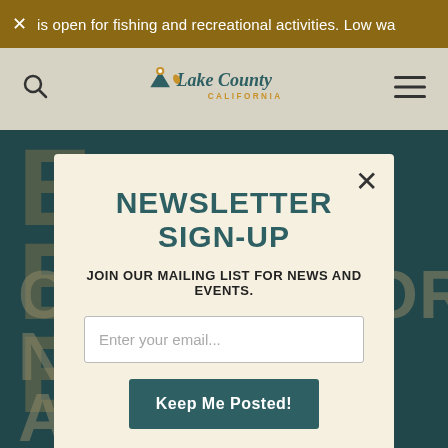× is open for fishing and recreational activities. Low wa…
[Figure (logo): Lake County California logo with mountain and location pin icon]
NEWSLETTER SIGN-UP
JOIN OUR MAILING LIST FOR NEWS AND EVENTS.
Enter your email...
Keep Me Posted!
CONTEMPORARY NATIVE AMERICAN